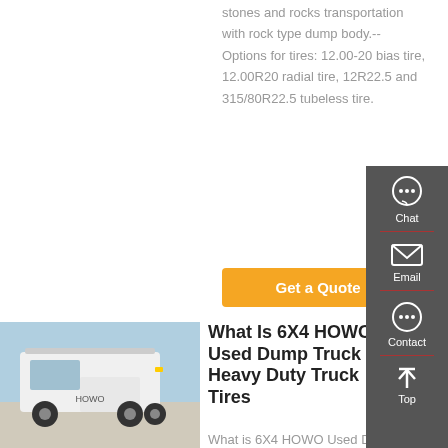stones and rocks transportation with rock type dump body.-- Options for tires: 12.00-20 bias tire, 12.00R20 radial tire, 12R22.5 and 315/80R22.5 tubeless tire.
Get a Quote
[Figure (photo): White HOWO heavy duty truck parked in a yard]
What Is 6X4 HOWO Used Dump Truck Heavy Duty Truck Tires
What is 6X4 HOWO Used Dump Truck Heavy Duty Truck 10 Tires